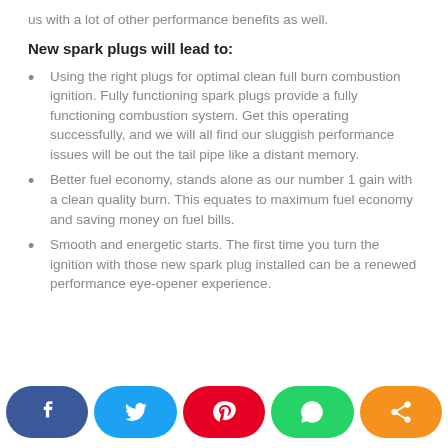us with a lot of other performance benefits as well.
New spark plugs will lead to:
Using the right plugs for optimal clean full burn combustion ignition. Fully functioning spark plugs provide a fully functioning combustion system. Get this operating successfully, and we will all find our sluggish performance issues will be out the tail pipe like a distant memory.
Better fuel economy, stands alone as our number 1 gain with a clean quality burn. This equates to maximum fuel economy and saving money on fuel bills.
Smooth and energetic starts. The first time you turn the ignition with those new spark plug installed can be a renewed performance eye-opener experience.